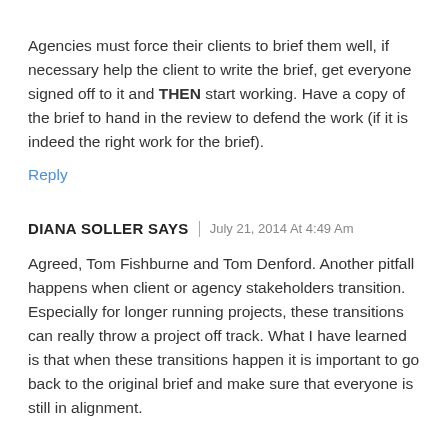Agencies must force their clients to brief them well, if necessary help the client to write the brief, get everyone signed off to it and THEN start working. Have a copy of the brief to hand in the review to defend the work (if it is indeed the right work for the brief).
Reply
DIANA SOLLER SAYS | July 21, 2014 At 4:49 Am
Agreed, Tom Fishburne and Tom Denford. Another pitfall happens when client or agency stakeholders transition. Especially for longer running projects, these transitions can really throw a project off track. What I have learned is that when these transitions happen it is important to go back to the original brief and make sure that everyone is still in alignment.